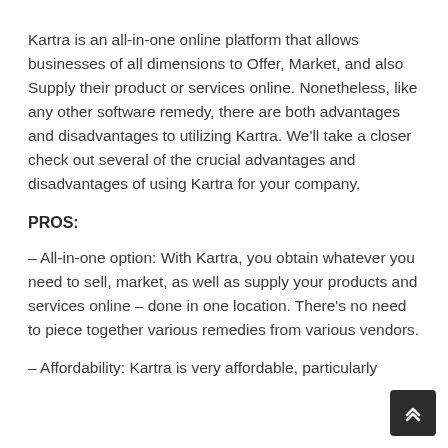Kartra is an all-in-one online platform that allows businesses of all dimensions to Offer, Market, and also Supply their product or services online. Nonetheless, like any other software remedy, there are both advantages and disadvantages to utilizing Kartra. We'll take a closer check out several of the crucial advantages and disadvantages of using Kartra for your company.
PROS:
– All-in-one option: With Kartra, you obtain whatever you need to sell, market, as well as supply your products and services online – done in one location. There's no need to piece together various remedies from various vendors.
– Affordability: Kartra is very affordable, particularly